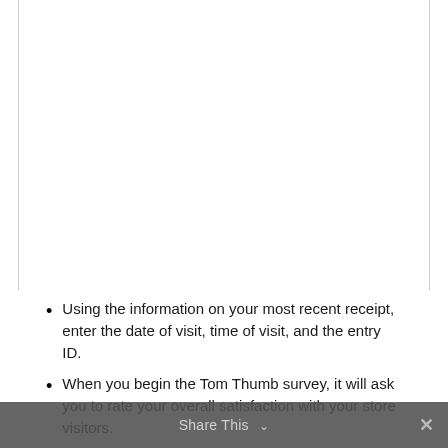Using the information on your most recent receipt, enter the date of visit, time of visit, and the entry ID.
When you begin the Tom Thumb survey, it will ask you to rate your overall satisfaction with your store visitors.
Continue through the survey, answering all questions honestly and rating different areas such as the